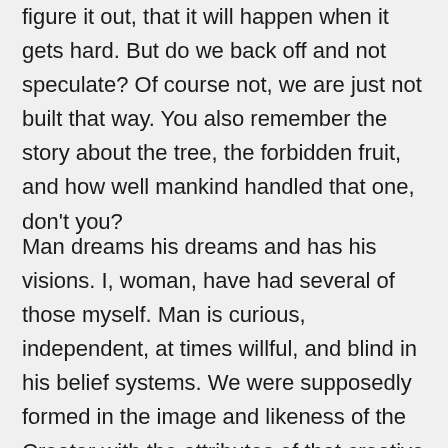figure it out, that it will happen when it gets hard. But do we back off and not speculate? Of course not, we are just not built that way. You also remember the story about the tree, the forbidden fruit, and how well mankind handled that one, don't you?
Man dreams his dreams and has his visions. I, woman, have had several of those myself. Man is curious, independent, at times willful, and blind in his belief systems. We were supposedly formed in the image and likeness of the Creator with the attributes of that creative principle, and we were put on schoolhouse Earth to find our way and learn our lessons. This was not a gigantic joke or punishment of a capricious deity, stamping a gigantic foot in petulance. That concept of